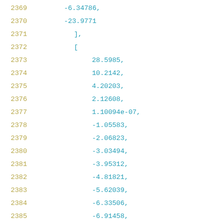2369    -6.34786,
2370    -23.9771
2371    ],
2372    [
2373        28.5985,
2374        10.2142,
2375        4.20203,
2376        2.12608,
2377        1.10094e-07,
2378        -1.05583,
2379        -2.06823,
2380        -3.03494,
2381        -3.95312,
2382        -4.81821,
2383        -5.62039,
2384        -6.33506,
2385        -6.91458,
2386        -7.32758,
2387        -7.60736,
2388        -7.80602,
2389        -7.95728,